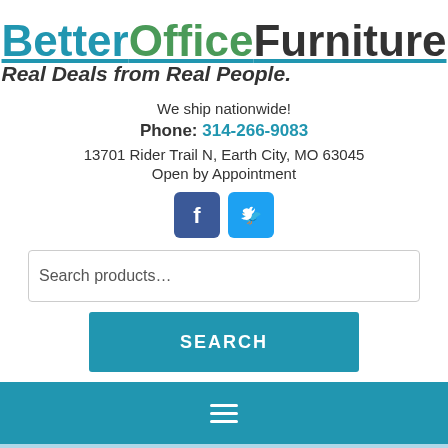[Figure (logo): BetterOfficeFurniture logo with tagline 'Real Deals from Real People.']
We ship nationwide!
Phone: 314-266-9083
13701 Rider Trail N, Earth City, MO 63045
Open by Appointment
[Figure (other): Facebook and Twitter social media icons]
Search products…
SEARCH
[Figure (other): Navigation hamburger menu bar (teal background)]